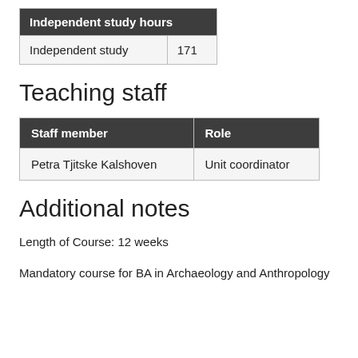| Independent study hours |
| --- |
| Independent study | 171 |
Teaching staff
| Staff member | Role |
| --- | --- |
| Petra Tjitske Kalshoven | Unit coordinator |
Additional notes
Length of Course: 12 weeks
Mandatory course for BA in Archaeology and Anthropology